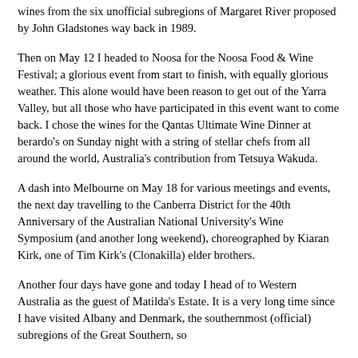wines from the six unofficial subregions of Margaret River proposed by John Gladstones way back in 1989.
Then on May 12 I headed to Noosa for the Noosa Food & Wine Festival; a glorious event from start to finish, with equally glorious weather. This alone would have been reason to get out of the Yarra Valley, but all those who have participated in this event want to come back. I chose the wines for the Qantas Ultimate Wine Dinner at berardo's on Sunday night with a string of stellar chefs from all around the world, Australia's contribution from Tetsuya Wakuda.
A dash into Melbourne on May 18 for various meetings and events, the next day travelling to the Canberra District for the 40th Anniversary of the Australian National University's Wine Symposium (and another long weekend), choreographed by Kiaran Kirk, one of Tim Kirk's (Clonakilla) elder brothers.
Another four days have gone and today I head of to Western Australia as the guest of Matilda's Estate. It is a very long time since I have visited Albany and Denmark, the southernmost (official) subregions of the Great Southern, so